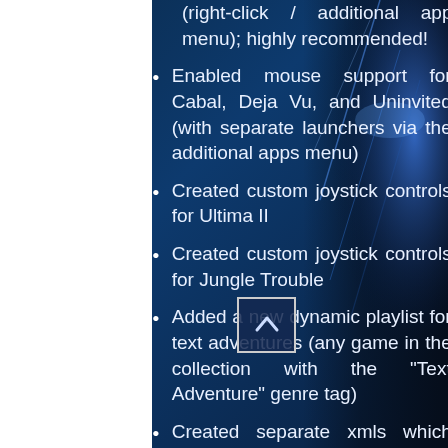Version of Rescue on Fractalus (right-click / additional apps menu); highly recommended!
Enabled mouse support for Cabal, Deja Vu, and Uninvited (with separate launchers via the additional apps menu)
Created custom joystick controls for Ultima II
Created custom joystick controls for Jungle Trouble
Added a new dynamic playlist for text adventures (any game in the collection with the "Text Adventure" genre tag)
Created separate xmls which can be imported into Launchbox (overwritten) to